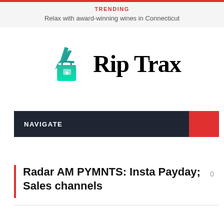TRENDING
Relax with award-winning wines in Connecticut
[Figure (logo): Rip Trax logo with teal airplane and briefcase icon and bold serif text 'Rip Trax']
NAVIGATE
Radar AM PYMNTS: Insta Payday; Sales channels